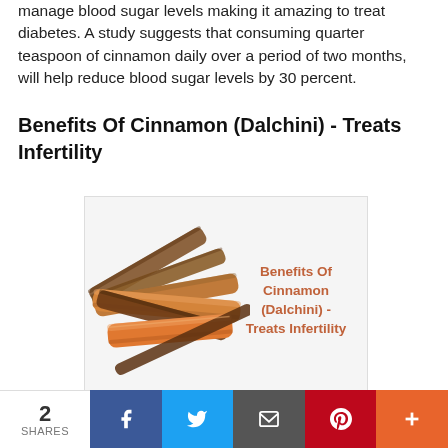manage blood sugar levels making it amazing to treat diabetes. A study suggests that consuming quarter teaspoon of cinnamon daily over a period of two months, will help reduce blood sugar levels by 30 percent.
Benefits Of Cinnamon (Dalchini) -  Treats Infertility
[Figure (photo): Cinnamon sticks (Dalchini) with overlay text 'Benefits Of Cinnamon (Dalchini) - Treats Infertility' in orange-brown color on white background]
Cinnamon is rich in cinnamaldehyde which is a nutrient known to increase the progesterone level and decrease testosterone levels in women. This brings a hormonal
2 SHARES | Facebook | Twitter | Email | Pinterest | More